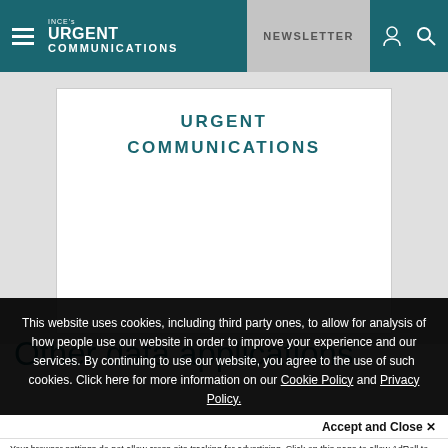INCE'S URGENT COMMUNICATIONS | NEWSLETTER
[Figure (logo): Urgent Communications logo with hamburger menu icon, INCE's URGENT COMMUNICATIONS text in white on teal background, NEWSLETTER button, user and search icons on right]
[Figure (other): Advertisement box with URGENT COMMUNICATIONS text in teal on white background with gray surrounding area]
Other data applications
This website uses cookies, including third party ones, to allow for analysis of how people use our website in order to improve your experience and our services. By continuing to use our website, you agree to the use of such cookies. Click here for more information on our Cookie Policy and Privacy Policy.
Accept and Close ✕
Your browser settings do not allow cross-site tracking for advertising. Click on this page to allow AdRoll to use cross-site tracking to tailor ads to you. Learn more or opt out of this AdRoll tracking by clicking here. This message only appears once.